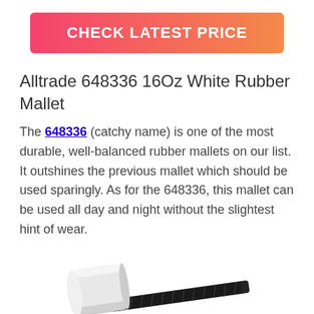[Figure (other): Button with gradient background (pink to orange) reading CHECK LATEST PRICE in white bold text]
Alltrade 648336 16Oz White Rubber Mallet
The 648336 (catchy name) is one of the most durable, well-balanced rubber mallets on our list. It outshines the previous mallet which should be used sparingly. As for the 648336, this mallet can be used all day and night without the slightest hint of wear.
[Figure (photo): Photo of an Alltrade 648336 white rubber mallet with black handle, shown horizontally on white background]